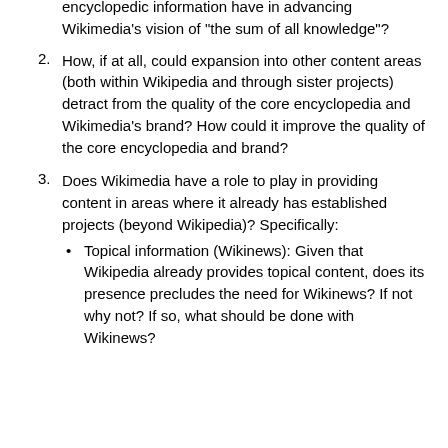encyclopedic information have in advancing Wikimedia's vision of "the sum of all knowledge"?
2. How, if at all, could expansion into other content areas (both within Wikipedia and through sister projects) detract from the quality of the core encyclopedia and Wikimedia's brand? How could it improve the quality of the core encyclopedia and brand?
3. Does Wikimedia have a role to play in providing content in areas where it already has established projects (beyond Wikipedia)? Specifically:
Topical information (Wikinews): Given that Wikipedia already provides topical content, does its presence precludes the need for Wikinews? If not why not? If so, what should be done with Wikinews?